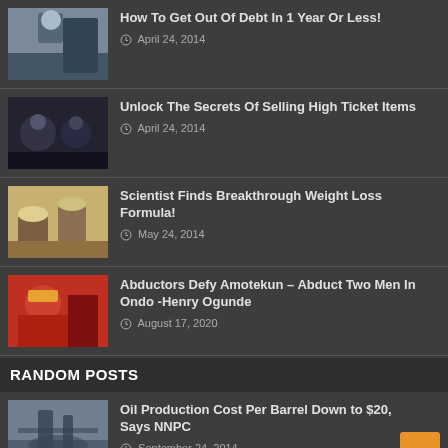How To Get Out Of Debt In 1 Year Or Less! — April 24, 2014
Unlock The Secrets Of Selling High Ticket Items — April 24, 2014
Scientist Finds Breakthrough Weight Loss Formula! — May 24, 2014
Abductors Defy Amotekun – Abduct Two Men In Ondo -Henry Ogunde — August 17, 2020
RANDOM POSTS
Oil Production Cost Per Barrel Down to $20, Says NNPC — September 24, 2014